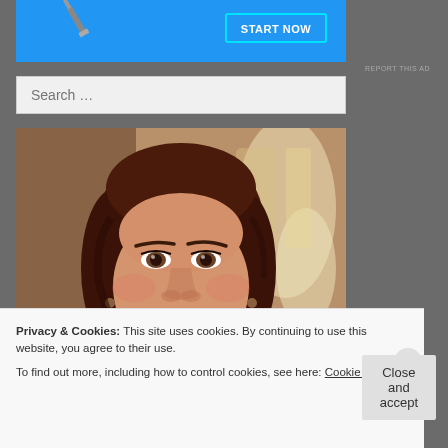[Figure (screenshot): Blue advertisement banner with a tool image on the left and a 'START NOW' button with cyan border on the right]
REPORT THIS AD
Search …
[Figure (photo): Portrait photo of a smiling woman with dark brown hair, wearing earrings, against a warm blurred background]
Privacy & Cookies: This site uses cookies. By continuing to use this website, you agree to their use.
To find out more, including how to control cookies, see here: Cookie Policy
Close and accept